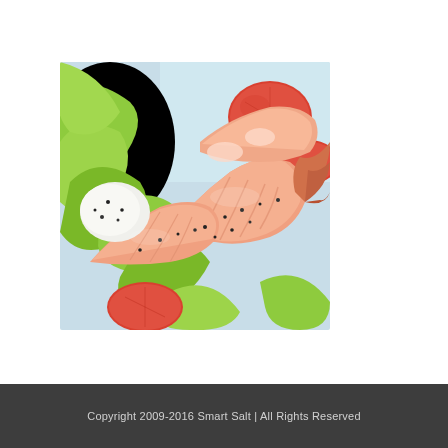[Figure (photo): Close-up photo of cooked shrimp/prawns with their tails, served on a bed of green lettuce leaves and sliced red tomatoes, seasoned with black pepper. Light blue background. Food photography style.]
Copyright 2009-2016 Smart Salt | All Rights Reserved